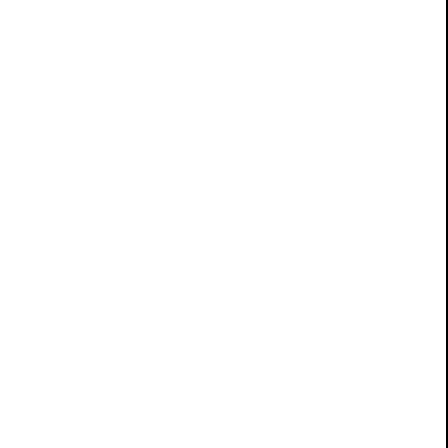About 250,000 people, among the last enslaved in the United States, were freed.
[Figure (photo): A group of people, including women, men, and children of African American descent, gathered outdoors near a building with columns. Several women are wearing colorful clothing (pink, yellow, white). A young man in a white shirt and sunglasses sits in the foreground.]